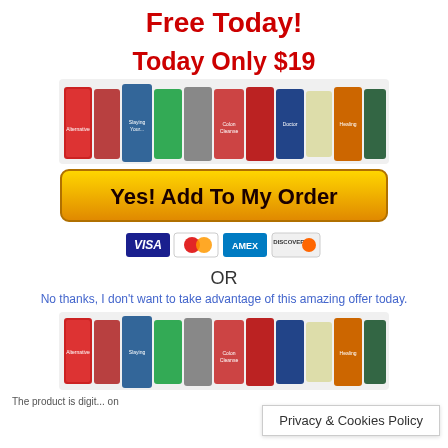Free Today!
Today Only $19
[Figure (illustration): Row of health and alternative medicine ebook covers displayed standing upright]
[Figure (infographic): Yellow gradient 'Yes! Add To My Order' button with dark text]
[Figure (infographic): Credit card logos: VISA, MasterCard, AMEX, DISCOVER]
OR
No thanks, I don't want to take advantage of this amazing offer today.
[Figure (illustration): Second row of health and alternative medicine ebook covers displayed standing upright]
The product is digit... on
Privacy & Cookies Policy